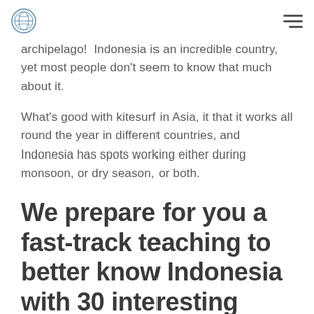[logo] [hamburger menu]
archipelago!  Indonesia is an incredible country, yet most people don't seem to know that much about it.
What's good with kitesurf in Asia, it that it works all round the year in different countries, and Indonesia has spots working either during monsoon, or dry season, or both.
We prepare for you a fast-track teaching to better know Indonesia with 30 interesting facts. So you can upgrade your knowledge when packing your kitesurf gear for Asia.